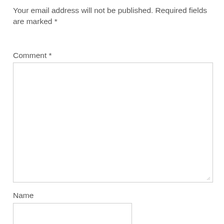Your email address will not be published. Required fields are marked *
Comment *
[Figure (other): Large empty textarea input box for comment entry with resize handle in bottom-right corner]
Name
[Figure (other): Small empty text input box for name entry]